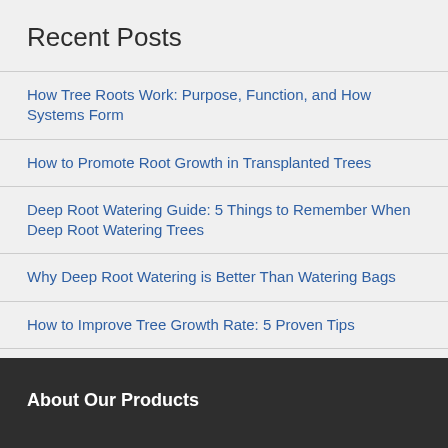Recent Posts
How Tree Roots Work: Purpose, Function, and How Systems Form
How to Promote Root Growth in Transplanted Trees
Deep Root Watering Guide: 5 Things to Remember When Deep Root Watering Trees
Why Deep Root Watering is Better Than Watering Bags
How to Improve Tree Growth Rate: 5 Proven Tips
About Our Products